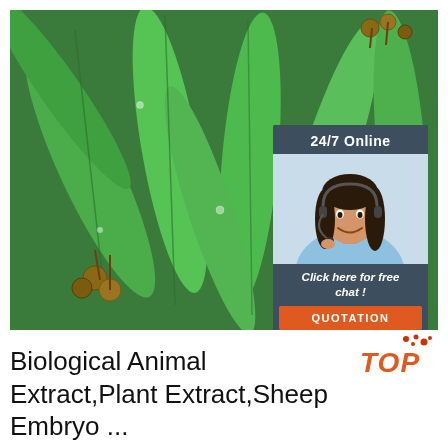[Figure (photo): Close-up photo of eucalyptus leaves (green, elongated) with seed pods/nuts, water droplets visible on leaves. Overlaid with a customer service chat widget in the top-right showing '24/7 Online', a woman with a headset, 'Click here for free chat!' and an orange QUOTATION button.]
[Figure (logo): TOP logo with orange dots above text, orange italic bold 'TOP' text]
Biological Animal Extract,Plant Extract,Sheep Embryo ...